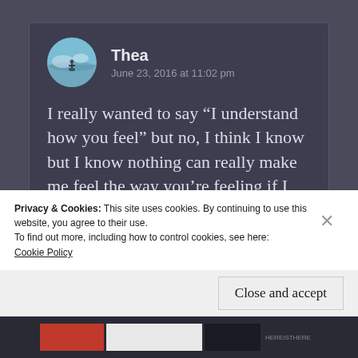Thea
June 23, 2016 at 11:02 pm
I really wanted to say “I understand how you feel” but no, I think I know but I know nothing can really make me feel the way you’re feeling if I am not in the same position. My heart breaks for your heartbreak, then again I am happy that you
Privacy & Cookies: This site uses cookies. By continuing to use this website, you agree to their use.
To find out more, including how to control cookies, see here:
Cookie Policy
Close and accept